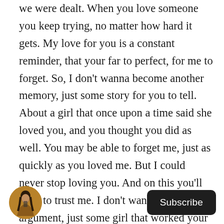we were dealt. When you love someone you keep trying, no matter how hard it gets. My love for you is a constant reminder, that your far to perfect, for me to forget. So, I don't wanna become another memory, just some story for you to tell. About a girl that once upon a time said she loved you, and you thought you did as well. You may be able to forget me, just as quickly as you loved me. But I could never stop loving you. And on this you'll have to trust me. I don't wanna be todays argument, just some girl that worked your nerves. Instead, lets just love each other, because regardless of how things are betwen us that is what we have both always
[Figure (photo): Small circular avatar photo of a woman]
Subscribe